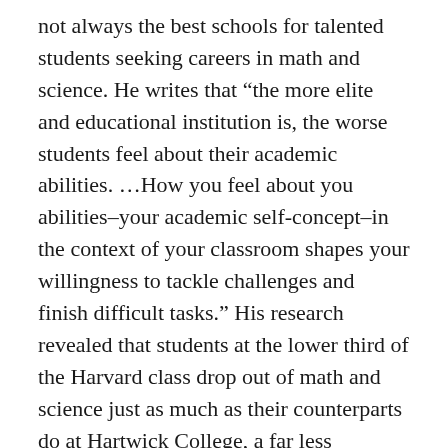not always the best schools for talented students seeking careers in math and science. He writes that “the more elite and educational institution is, the worse students feel about their academic abilities. …How you feel about you abilities–your academic self-concept–in the context of your classroom shapes your willingness to tackle challenges and finish difficult tasks.” His research revealed that students at the lower third of the Harvard class drop out of math and science just as much as their counterparts do at Hartwick College, a far less prestigious college in upstate New York. This is surprising because one would think that because Harvard students have far higher SAT scores than Hartwick students,